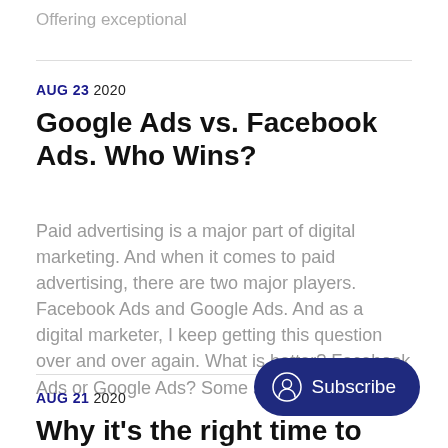Offering exceptional
AUG 23 2020
Google Ads vs. Facebook Ads. Who Wins?
Paid advertising is a major part of digital marketing. And when it comes to paid advertising, there are two major players. Facebook Ads and Google Ads. And as a digital marketer, I keep getting this question over and over again. What is better? Facebook Ads or Google Ads? Some say
AUG 21 2020
Why it's the right time to build your